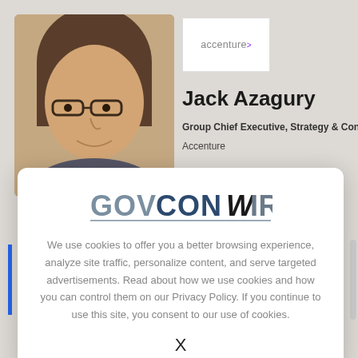[Figure (screenshot): Screenshot of a GovConWire webpage showing a LinkedIn-style profile of Jack Azagury, Group Chief Executive, Strategy & Consulting at Accenture, with the Accenture logo visible. A cookie consent modal overlay appears in the lower portion of the screenshot, containing the GovConWire logo, cookie policy text, and a close X button.]
Jack Azagury
Group Chief Executive, Strategy & Consulting
Accenture
We use cookies to offer you a better browsing experience, analyze site traffic, personalize content, and serve targeted advertisements. Read about how we use cookies and how you can control them on our Privacy Policy. If you continue to use this site, you consent to our use of cookies.
been named group